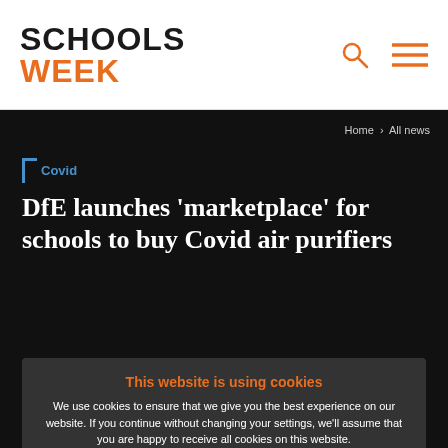[Figure (logo): Schools Week logo with SCHOOLS in black bold uppercase and WEEK in orange bold uppercase]
Home › All news
Covid
DfE launches 'marketplace' for schools to buy Covid air purifiers
This website is using cookies
We use cookies to ensure that we give you the best experience on our website. If you continue without changing your settings, we'll assume that you are happy to receive all cookies on this website.
Accept   Learn More